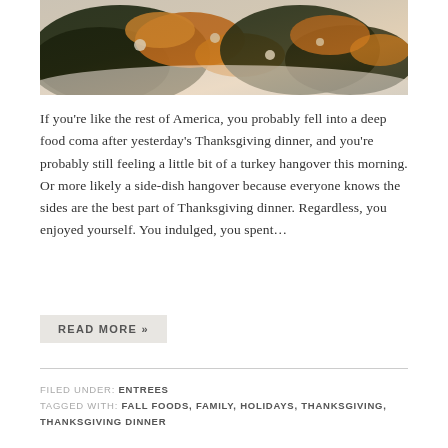[Figure (photo): Close-up photo of a Thanksgiving dish — appears to be a casserole or stuffing with dark greens, orange squash or sweet potato, and white beans or nuts on a white plate.]
If you're like the rest of America, you probably fell into a deep food coma after yesterday's Thanksgiving dinner, and you're probably still feeling a little bit of a turkey hangover this morning. Or more likely a side-dish hangover because everyone knows the sides are the best part of Thanksgiving dinner. Regardless, you enjoyed yourself. You indulged, you spent…
READ MORE »
FILED UNDER: ENTREES
TAGGED WITH: FALL FOODS, FAMILY, HOLIDAYS, THANKSGIVING, THANKSGIVING DINNER